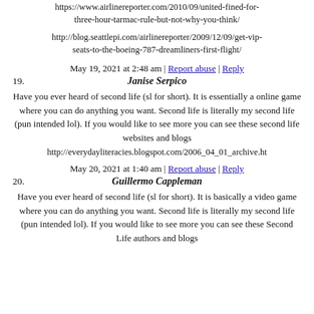https://www.airlinereporter.com/2010/09/united-fined-for-three-hour-tarmac-rule-but-not-why-you-think/
http://blog.seattlepi.com/airlinereporter/2009/12/09/get-vip-seats-to-the-boeing-787-dreamliners-first-flight/
May 19, 2021 at 2:48 am | Report abuse | Reply
19. Janise Serpico
Have you ever heard of second life (sl for short). It is essentially a online game where you can do anything you want. Second life is literally my second life (pun intended lol). If you would like to see more you can see these second life websites and blogs
http://everydayliteracies.blogspot.com/2006_04_01_archive.ht
May 20, 2021 at 1:40 am | Report abuse | Reply
20. Guillermo Cappleman
Have you ever heard of second life (sl for short). It is basically a video game where you can do anything you want. Second life is literally my second life (pun intended lol). If you would like to see more you can see these Second Life authors and blogs